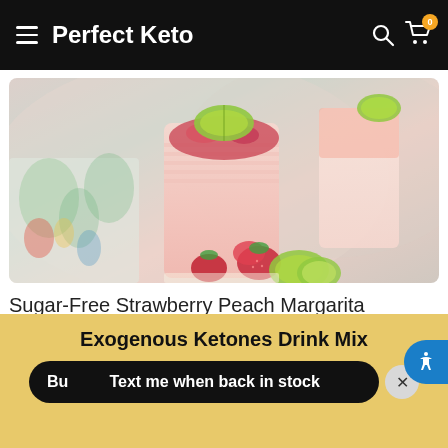Perfect Keto
[Figure (photo): Pink strawberry peach margarita drinks in ribbed glasses garnished with lime wedges and freeze-dried strawberries, with fresh strawberries and limes on the side]
Sugar-Free Strawberry Peach Margarita
[Figure (photo): Partial view of a second article image, white/light gray background]
Exogenous Ketones Drink Mix
Bu  Text me when back in stock